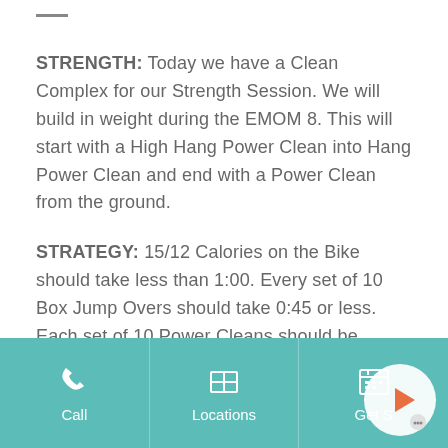STRENGTH: Today we have a Clean Complex for our Strength Session. We will build in weight during the EMOM 8. This will start with a High Hang Power Clean into Hang Power Clean and end with a Power Clean from the ground.
STRATEGY: 15/12 Calories on the Bike should take less than 1:00. Every set of 10 Box Jump Overs should take 0:45 or less. Each set of 10 Power Cleans should be completed in 1:00 or
Call | Locations | Get S...